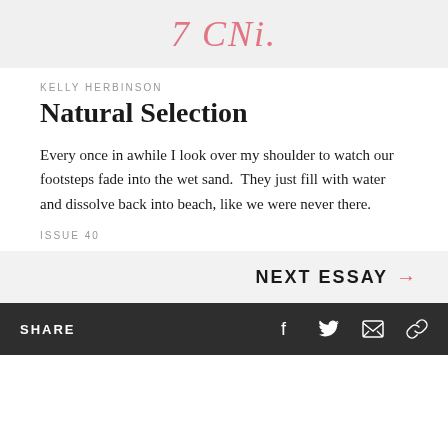[Figure (illustration): Partial view of a stylized logo or masthead text in italic serif font, pink/red color, partially cropped at top]
KELLY HERBINSON
Natural Selection
Every once in awhile I look over my shoulder to watch our footsteps fade into the wet sand.  They just fill with water and dissolve back into beach, like we were never there.
ISSUE 40
NEXT ESSAY →
SHARE